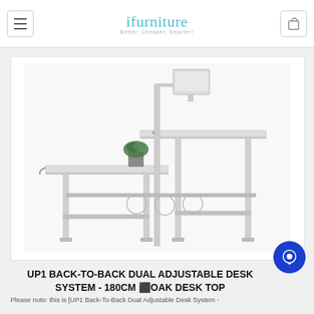ifurniture — Better, Cheaper, Smarter!
[Figure (photo): Back-to-back dual adjustable desk system with white frame, two desk surfaces at different heights, a monitor arm with display, and a small plant on one surface. The desk has a white powder-coated steel frame with adjustable legs.]
UP1 BACK-TO-BACK DUAL ADJUSTABLE DESK SYSTEM - 180CM OAK DESK TOP
Please note: this is [UP1 Back-To-Back Dual Adjustable Desk System -